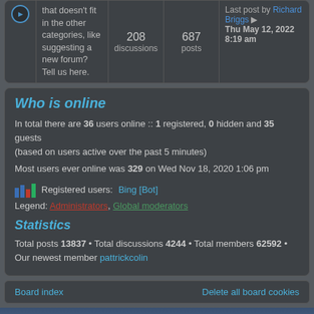that doesn't fit in the other categories, like suggesting a new forum? Tell us here.
208 discussions
687 posts
Last post by Richard Briggs Thu May 12, 2022 8:19 am
Who is online
In total there are 36 users online :: 1 registered, 0 hidden and 35 guests (based on users active over the past 5 minutes)
Most users ever online was 329 on Wed Nov 18, 2020 1:06 pm
Registered users: Bing [Bot]
Legend: Administrators, Global moderators
Statistics
Total posts 13837 • Total discussions 4244 • Total members 62592 • Our newest member pattrickcolin
Board index
Delete all board cookies